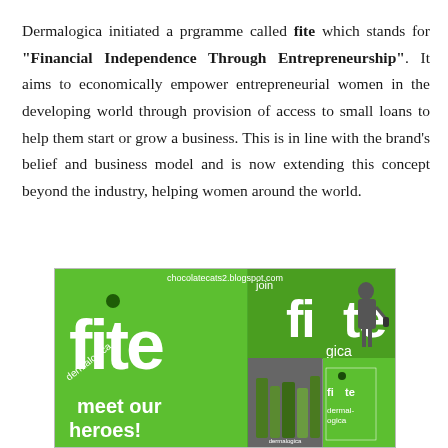Dermalogica initiated a prgramme called fite which stands for "Financial Independence Through Entrepreneurship". It aims to economically empower entrepreneurial women in the developing world through provision of access to small loans to help them start or grow a business. This is in line with the brand's belief and business model and is now extending this concept beyond the industry, helping women around the world.
[Figure (photo): Photo collage of a Dermalogica fite (Financial Independence Through Entrepreneurship) event showing green branded materials with 'meet our heroes!' text, a woman speaking at a podium with a microphone in front of green fite branding, and Dermalogica product packages. Watermark: chocolatecats2.blogspot.com]